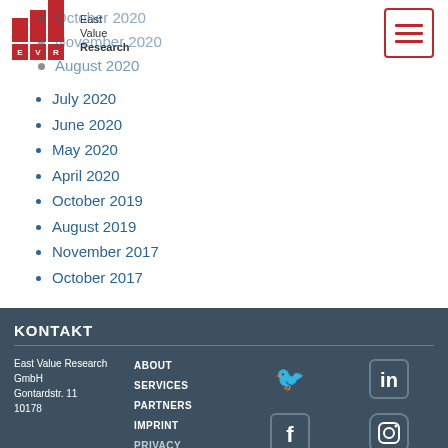[Figure (logo): East Value Research logo with red bar chart and EVR letters]
[Figure (other): Hamburger menu icon with red border and three red lines]
October 2020
November 2020
August 2020
July 2020
June 2020
May 2020
April 2020
October 2019
August 2019
November 2017
October 2017
KONTAKT
East Value Research GmbH
Gontardstr. 11
10178
ABOUT
SERVICES
PARTNERS
IMPRINT
PRIVACY
[Figure (other): Social media icons: Twitter, LinkedIn, Facebook, Instagram]